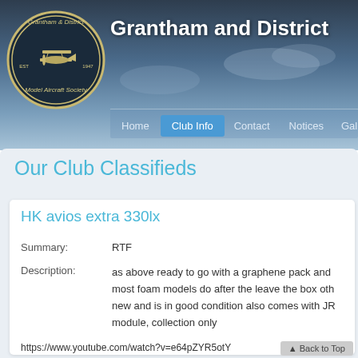[Figure (screenshot): Website header with logo of Grantham and District Model Aircraft Society — circular logo with biplane — on a cloudy sky background]
Grantham and District
Home | Club Info | Contact | Notices | Gallery
Our Club Classifieds
HK avios extra 330lx
Summary: RTF
Description: as above ready to go with a graphene pack and most foam models do after the leave the box othe new and is in good condition also comes with JR module, collection only
https://www.youtube.com/watch?v=e64pZYR5otY